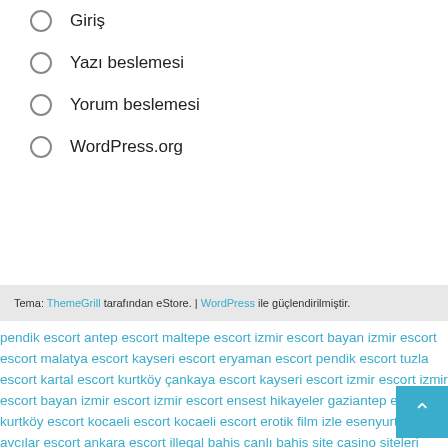Giriş
Yazı beslemesi
Yorum beslemesi
WordPress.org
Tema: ThemeGrill tarafından eStore. | WordPress ile güçlendirilmiştir.
pendik escort antep escort maltepe escort izmir escort bayan izmir escort escort malatya escort kayseri escort eryaman escort pendik escort tuzla escort kartal escort kurtköy çankaya escort kayseri escort izmir escort izmir escort bayan izmir escort izmir escort ensest hikayeler gaziantep escort kurtköy escort kocaeli escort kocaeli escort erotik film izle esenyurt escort avcılar escort ankara escort illegal bahis canlı bahis siteleri casino siteleri canlı bahis kaçak bahis bahis siteleri izmir escort a escort görükle escort bursa escort